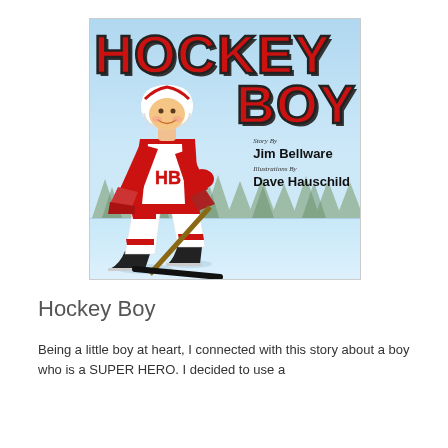[Figure (illustration): Book cover of 'Hockey Boy' showing a young boy in a red and white hockey uniform with 'HB' on the jersey, skating and holding a hockey stick on an icy background with trees. Large red block letters spell 'HOCKEY BOY'. Author: Jim Bellware, Illustrations by Dave Hauschild.]
Hockey Boy
Being a little boy at heart, I connected with this story about a boy who is a SUPER HERO. I decided to use a